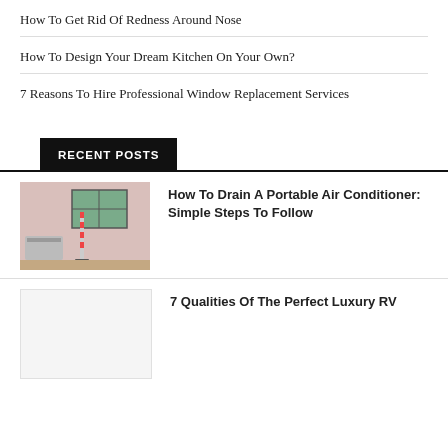How To Get Rid Of Redness Around Nose
How To Design Your Dream Kitchen On Your Own?
7 Reasons To Hire Professional Window Replacement Services
RECENT POSTS
[Figure (photo): Photo of an outdoor air conditioning unit mounted on a wall next to a window, with a barber pole and chair visible]
How To Drain A Portable Air Conditioner: Simple Steps To Follow
[Figure (photo): Blank/placeholder white image for second recent post]
7 Qualities Of The Perfect Luxury RV